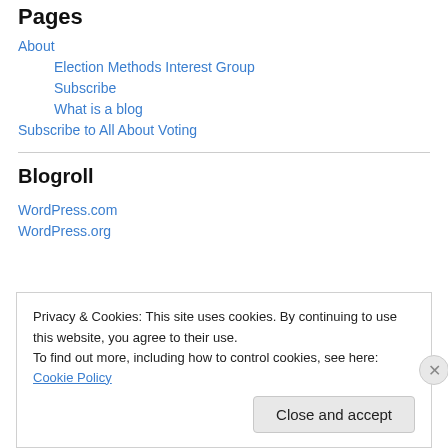Pages
About
Election Methods Interest Group
Subscribe
What is a blog
Subscribe to All About Voting
Blogroll
WordPress.com
WordPress.org
Privacy & Cookies: This site uses cookies. By continuing to use this website, you agree to their use.
To find out more, including how to control cookies, see here: Cookie Policy
Close and accept